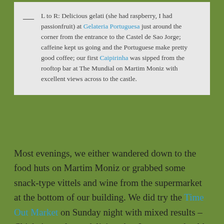— L to R: Delicious gelati (she had raspberry, I had passionfruit) at Gelateria Portuguesa just around the corner from the entrance to the Castel de Sao Jorge; caffeine kept us going and the Portuguese make pretty good coffee; our first Caipirinha was sipped from the rooftop bar at The Mundial on Martim Moniz with excellent views across to the castle.
Most evenings, we either wandered down to the food huts on Martim Moniz or grabbed some snack-type vittels and wine from the supermarket at the bottom of our building. We did try the Time Out Market on Sunday night with mixed results – Chicky's meal was delicious but I was served cold, stringy and partially-cooked fries with my